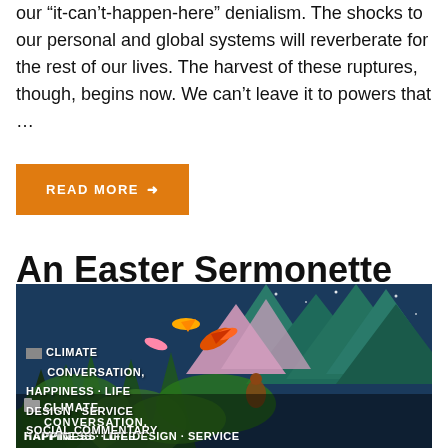our “it-can’t-happen-here” denialism. The shocks to our personal and global systems will reverberate for the rest of our lives. The harvest of these ruptures, though, begins now. We can’t leave it to powers that …
READ MORE →
An Easter Sermonette
[Figure (illustration): A colorful folk-art style painting showing tropical birds, plants, mountains with teal and green tones, and human figures in a lush landscape. Category tags overlay the image: CLIMATE, CONVERSATION, HAPPINESS, LIFE DESIGN, SERVICE, SOCIAL COMMENTARY.]